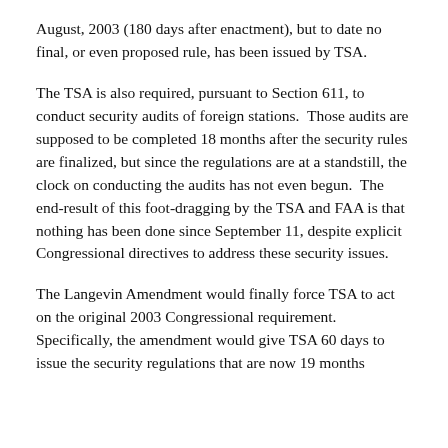August, 2003 (180 days after enactment), but to date no final, or even proposed rule, has been issued by TSA.
The TSA is also required, pursuant to Section 611, to conduct security audits of foreign stations.  Those audits are supposed to be completed 18 months after the security rules are finalized, but since the regulations are at a standstill, the clock on conducting the audits has not even begun.  The end-result of this foot-dragging by the TSA and FAA is that nothing has been done since September 11, despite explicit Congressional directives to address these security issues.
The Langevin Amendment would finally force TSA to act on the original 2003 Congressional requirement.  Specifically, the amendment would give TSA 60 days to issue the security regulations that are now 19 months